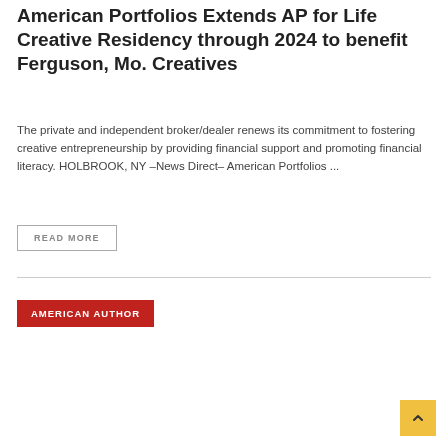American Portfolios Extends AP for Life Creative Residency through 2024 to benefit Ferguson, Mo. Creatives
The private and independent broker/dealer renews its commitment to fostering creative entrepreneurship by providing financial support and promoting financial literacy. HOLBROOK, NY –News Direct– American Portfolios ...
READ MORE
AMERICAN AUTHOR